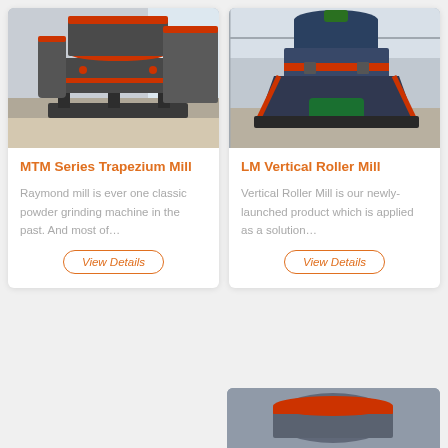[Figure (photo): Photo of MTM Series Trapezium Mill industrial grinding machine, dark grey color with red accents, in a factory setting]
MTM Series Trapezium Mill
Raymond mill is ever one classic powder grinding machine in the past. And most of…
View Details
[Figure (photo): Photo of LM Vertical Roller Mill industrial machine, dark blue/grey with red and green elements, in a factory setting]
LM Vertical Roller Mill
Vertical Roller Mill is our newly-launched product which is applied as a solution…
View Details
[Figure (photo): Partial photo of another industrial mill machine visible at the bottom right of the page]